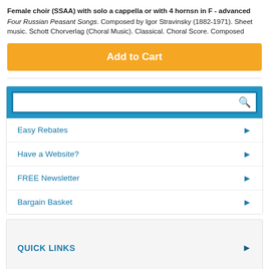Female choir (SSAA) with solo a cappella or with 4 hornsn in F - advanced
Four Russian Peasant Songs. Composed by Igor Stravinsky (1882-1971). Sheet music. Schott Chorverlag (Choral Music). Classical. Choral Score. Composed
[Figure (other): Orange 'Add to Cart' button]
[Figure (other): Search box with blue border and magnifying glass icon]
Easy Rebates
Have a Website?
FREE Newsletter
Bargain Basket
QUICK LINKS